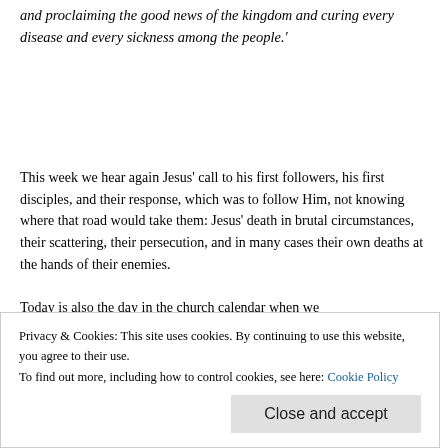and proclaiming the good news of the kingdom and curing every disease and every sickness among the people.'
This week we hear again Jesus' call to his first followers, his first disciples, and their response, which was to follow Him, not knowing where that road would take them: Jesus' death in brutal circumstances, their scattering, their persecution, and in many cases their own deaths at the hands of their enemies.
Today is also the day in the church calendar when we
Privacy & Cookies: This site uses cookies. By continuing to use this website, you agree to their use.
To find out more, including how to control cookies, see here: Cookie Policy
Close and accept
The response of both the first disciples and St Paul is reported